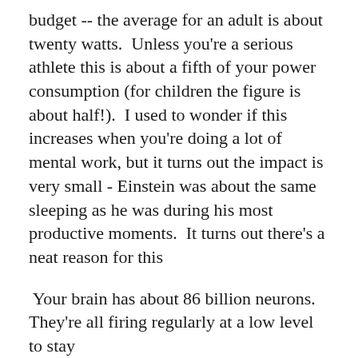budget -- the average for an adult is about twenty watts.  Unless you're a serious athlete this is about a fifth of your power consumption (for children the figure is about half!).  I used to wonder if this increases when you're doing a lot of mental work, but it turns out the impact is very small - Einstein was about the same sleeping as he was during his most productive moments.  It turns out there's a neat reason for this
Your brain has about 86 billion neurons. They're all firing regularly at a low level to stay